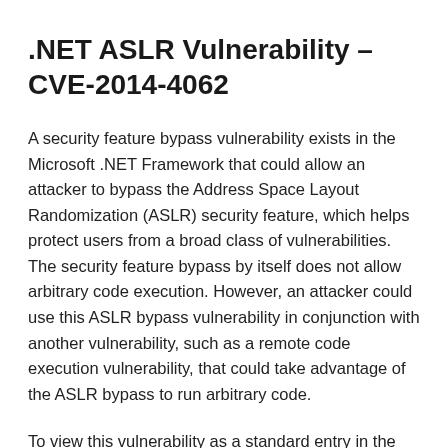.NET ASLR Vulnerability – CVE-2014-4062
A security feature bypass vulnerability exists in the Microsoft .NET Framework that could allow an attacker to bypass the Address Space Layout Randomization (ASLR) security feature, which helps protect users from a broad class of vulnerabilities. The security feature bypass by itself does not allow arbitrary code execution. However, an attacker could use this ASLR bypass vulnerability in conjunction with another vulnerability, such as a remote code execution vulnerability, that could take advantage of the ASLR bypass to run arbitrary code.
To view this vulnerability as a standard entry in the Common Vulnerabilities and Exposures list, see CVE-2014-